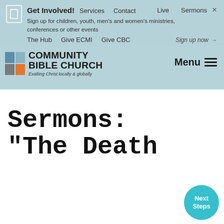[Figure (screenshot): Community Bible Church website screenshot showing navigation overlay with light blue background, logo, menu button, and beginning of a sermon page title]
Get Involved! Services Contact Live Sermons The Hub Give ECMI Give CBC
Sign up for children, youth, men's and women's ministries, conferences or other events
Sign up now →
Sermons: “The Death